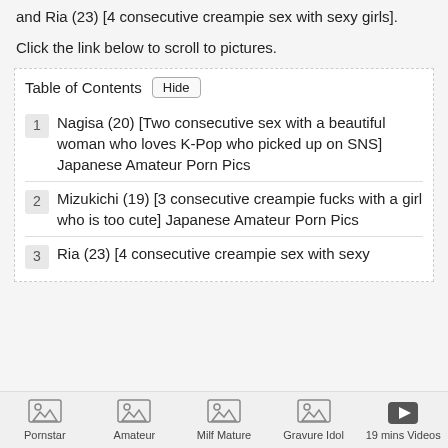and Ria (23) [4 consecutive creampie sex with sexy girls].
Click the link below to scroll to pictures.
1  Nagisa (20) [Two consecutive sex with a beautiful woman who loves K-Pop who picked up on SNS] Japanese Amateur Porn Pics
2  Mizukichi (19) [3 consecutive creampie fucks with a girl who is too cute] Japanese Amateur Porn Pics
3  Ria (23) [4 consecutive creampie sex with sexy
Pornstar  Amateur  Milf Mature  Gravure Idol  19 mins Videos